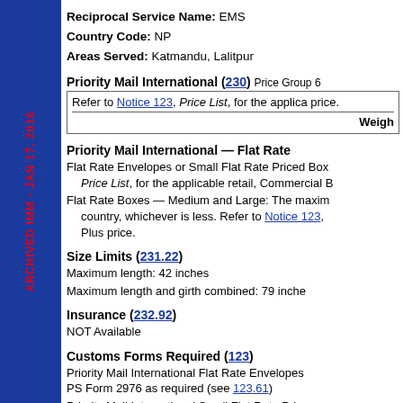Reciprocal Service Name: EMS
Country Code: NP
Areas Served: Katmandu, Lalitpur
Priority Mail International (230) Price Group 6
Refer to Notice 123, Price List, for the applicable price.
| Weight |
| --- |
Priority Mail International — Flat Rate
Flat Rate Envelopes or Small Flat Rate Priced Box: Refer to Notice 123, Price List, for the applicable retail, Commercial B price.
Flat Rate Boxes — Medium and Large: The maximum weight for this country, whichever is less. Refer to Notice 123, for the applicable Plus price.
Size Limits (231.22)
Maximum length: 42 inches
Maximum length and girth combined: 79 inches
Insurance (232.92)
NOT Available
Customs Forms Required (123)
Priority Mail International Flat Rate Envelopes: PS Form 2976 as required (see 123.61)
Priority Mail International Small Flat Rate Priced Box: PS Form 2976
Priority Mail International parcels: